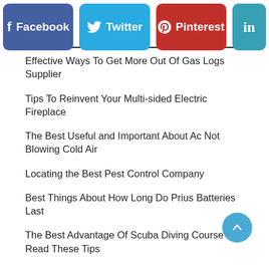[Figure (infographic): Social media share buttons: Facebook (blue), Twitter (cyan), Pinterest (red), LinkedIn (teal)]
Effective Ways To Get More Out Of Gas Logs Supplier
Tips To Reinvent Your Multi-sided Electric Fireplace
The Best Useful and Important About Ac Not Blowing Cold Air
Locating the Best Pest Control Company
Best Things About How Long Do Prius Batteries Last
The Best Advantage Of Scuba Diving Course – Read These Tips
How to Brake Repair?